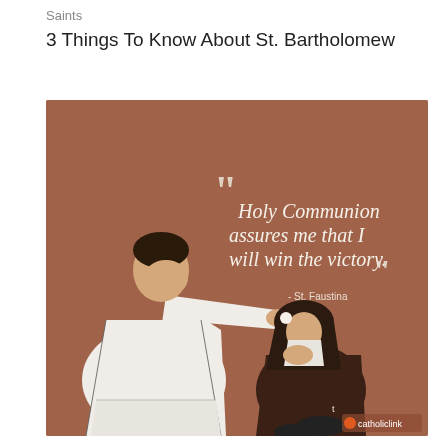Saints
3 Things To Know About St. Bartholomew
[Figure (illustration): Illustration on a brown background showing a priest in white robes giving Holy Communion to a kneeling nun in dark brown habit. A quote in white text reads: "Holy Communion assures me that I will win the victory." - St. Faustina. A 'catholiclink' logo appears in the bottom right corner.]